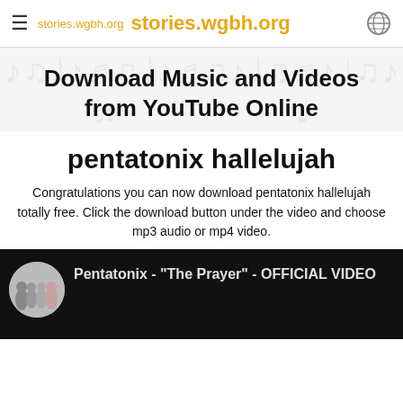stories.wgbh.org  stories.wgbh.org
Download Music and Videos from YouTube Online
pentatonix hallelujah
Congratulations you can now download pentatonix hallelujah totally free. Click the download button under the video and choose mp3 audio or mp4 video.
[Figure (screenshot): YouTube video thumbnail showing Pentatonix group photo in a circle with title 'Pentatonix - "The Prayer" - OFFICIAL VIDEO' on a black background]